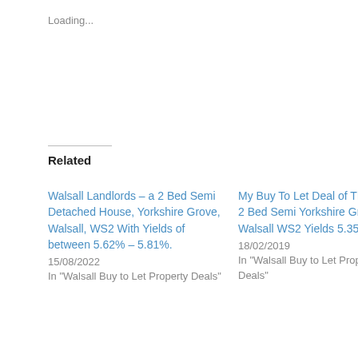Loading...
Related
Walsall Landlords – a 2 Bed Semi Detached House, Yorkshire Grove, Walsall, WS2 With Yields of between 5.62% – 5.81%.
15/08/2022
In "Walsall Buy to Let Property Deals"
My Buy To Let Deal of The Week 2 Bed Semi Yorkshire Grove Walsall WS2 Yields 5.35%.
18/02/2019
In "Walsall Buy to Let Property Deals"
My BTL Deal Of The Day 3 Bed Semi, Raymond Close, Walsall, WS2 Yields 5.36%.
06/10/2018
In "Walsall Buy to Let Property Deals"